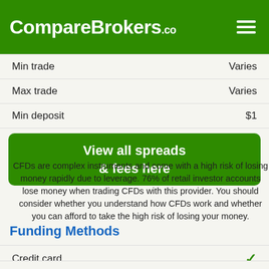CompareBrokers.co
|  |  |
| --- | --- |
| Min trade | Varies |
| Max trade | Varies |
| Min deposit | $1 |
View all spreads & fees here
CFDs are complex instruments and come with a high risk of losing money rapidly due to leverage. 76% of retail investor accounts lose money when trading CFDs with this provider. You should consider whether you understand how CFDs work and whether you can afford to take the high risk of losing your money.
Funding Methods
|  |  |
| --- | --- |
| Credit card | ✓ |
| Bank transfer | ✓ |